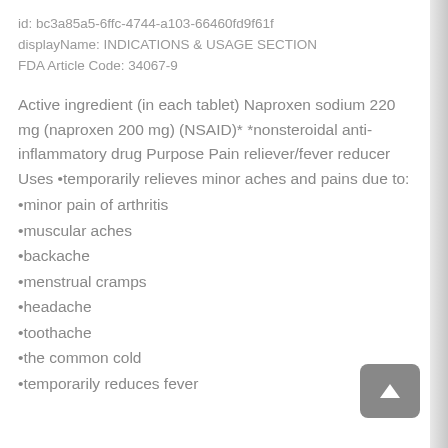id: bc3a85a5-6ffc-4744-a103-66460fd9f61f
displayName: INDICATIONS & USAGE SECTION
FDA Article Code: 34067-9
Active ingredient (in each tablet) Naproxen sodium 220 mg (naproxen 200 mg) (NSAID)* *nonsteroidal anti-inflammatory drug Purpose Pain reliever/fever reducer Uses •temporarily relieves minor aches and pains due to:
•minor pain of arthritis
•muscular aches
•backache
•menstrual cramps
•headache
•toothache
•the common cold
•temporarily reduces fever